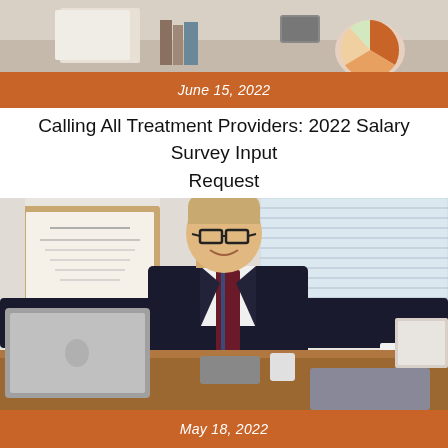[Figure (photo): Top portion of a desk scene with papers, charts, and office items visible]
June 15, 2022
Calling All Treatment Providers: 2022 Salary Survey Input Request
[Figure (photo): Professional man in dark suit with striped tie sitting at a desk with a MacBook laptop, smiling at camera in an office setting]
May 18, 2022